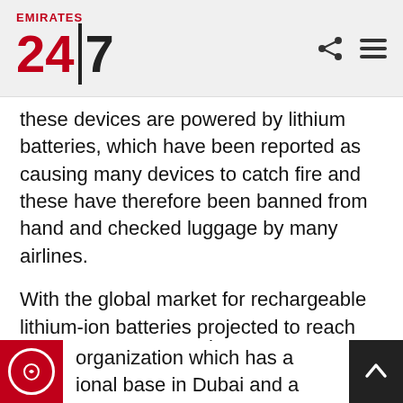Emirates 24|7
these devices are powered by lithium batteries, which have been reported as causing many devices to catch fire and these have therefore been banned from hand and checked luggage by many airlines.
With the global market for rechargeable lithium-ion batteries projected to reach $11.9 billion in annual sales by 2020, this technology has evolved over the past 25 years. It now packs in more energy and yields longer life cycles, making it an ideal energy source for transforming the way we learn, work, play and travel.
UL, the not-for-profit organization which has a ional base in Dubai and a new testing laborator